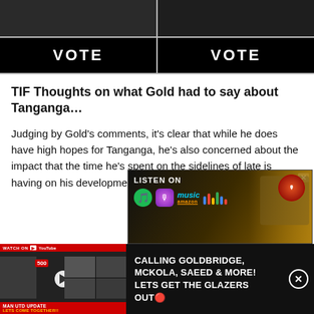[Figure (screenshot): Two dark photos of people side by side above VOTE buttons]
TIF Thoughts on what Gold had to say about Tanganga…
Judging by Gold's comments, it's clear that while he does have high hopes for Tanganga, he's also concerned about the impact that the time he's spent on the sidelines of late is having on his development.
[Figure (screenshot): Advertisement banner: LISTEN ON Spotify, Apple Podcasts, Amazon Music, Google Podcasts with podcast host face]
[Figure (screenshot): Video ad: MAN UTD UPDATE / LETS COME TOGETHER!! with text CALLING GOLDBRIDGE, MCKOLA, SAEED & MORE! LETS GET THE GLAZERS OUT]